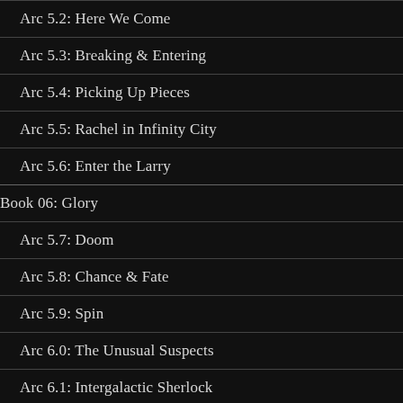Arc 5.2: Here We Come
Arc 5.3: Breaking & Entering
Arc 5.4: Picking Up Pieces
Arc 5.5: Rachel in Infinity City
Arc 5.6: Enter the Larry
Book 06: Glory
Arc 5.7: Doom
Arc 5.8: Chance & Fate
Arc 5.9: Spin
Arc 6.0: The Unusual Suspects
Arc 6.1: Intergalactic Sherlock
Arc 6.2: Chancy Connections